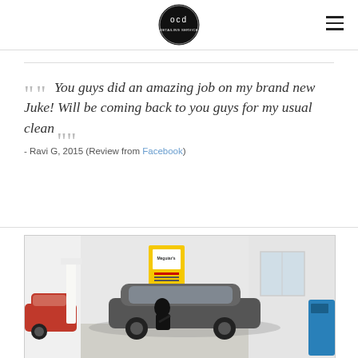OCD (logo)
““ You guys did an amazing job on my brand new Juke! Will be coming back to you guys for my usual clean”” - Ravi G, 2015 (Review from Facebook)
[Figure (photo): Photo of a car detailing garage interior with a person working on a dark grey car, red car visible on left, yellow Meguiar's product sign on wall, white walls and equipment in background]